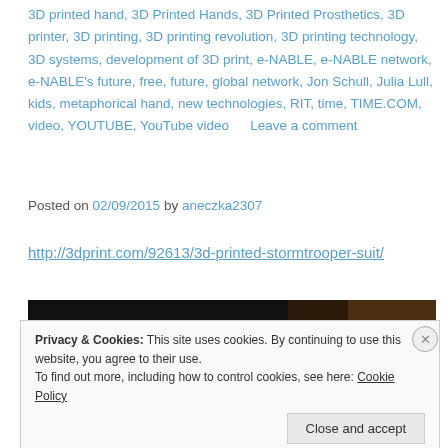3D printed hand, 3D Printed Hands, 3D Printed Prosthetics, 3D printer, 3D printing, 3D printing revolution, 3D printing technology, 3D systems, development of 3D print, e-NABLE, e-NABLE network, e-NABLE's future, free, future, global network, Jon Schull, Julia Lull, kids, metaphorical hand, new technologies, RIT, time, TIME.COM, video, YOUTUBE, YouTube video   Leave a comment
Posted on 02/09/2015 by aneczka2307
http://3dprint.com/92613/3d-printed-stormtrooper-suit/
[Figure (photo): Dark image strip visible at top of page, partially obscured by cookie banner]
Privacy & Cookies: This site uses cookies. By continuing to use this website, you agree to their use.
To find out more, including how to control cookies, see here: Cookie Policy
Close and accept